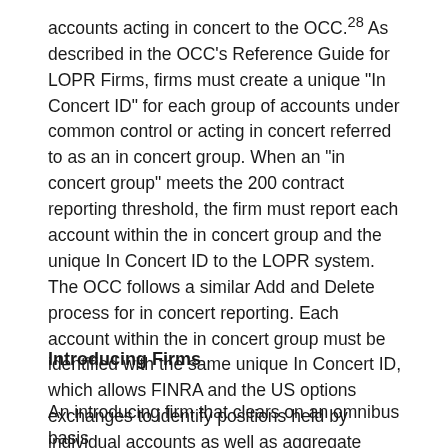accounts acting in concert to the OCC.28 As described in the OCC's Reference Guide for LOPR Firms, firms must create a unique "In Concert ID" for each group of accounts under common control or acting in concert referred to as an in concert group. When an "in concert group" meets the 200 contract reporting threshold, the firm must report each account within the in concert group and the unique In Concert ID to the LOPR system. The OCC follows a similar Add and Delete process for in concert reporting. Each account within the in concert group must be identified with the same unique In Concert ID, which allows FINRA and the US options exchanges to identify positions held by individual accounts as well as aggregate positions held by groups of accounts under common control.
Introducing Firms
An introducing firm that clears on an omnibus basis